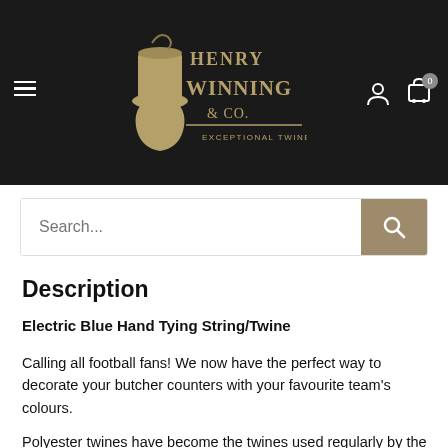[Figure (logo): Henry Winning & Co. logo — illustrated man in top hat with decorative typography, gold/tan color on black background. Tagline: EXCEPTIONAL TWINE SINCE 1880]
Search...
Description
Electric Blue Hand Tying String/Twine
Calling all football fans! We now have the perfect way to decorate your butcher counters with your favourite team's colours.
Polyester twines have become the twines used regularly by the butchery and associated trades. All of our Butchers Twine is food safe and produced in the UK to the highest standards by us since 1880. We are one of Europes leading twine manufacturers.